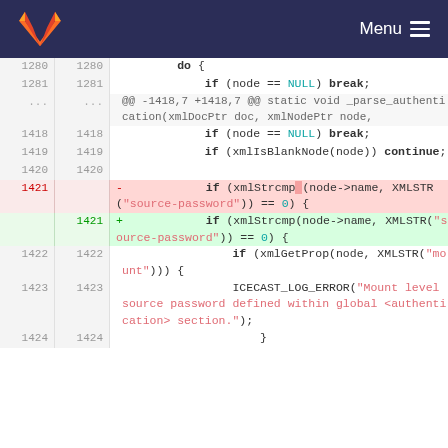GitLab — Menu
[Figure (screenshot): GitLab code diff view showing C source code changes around lines 1280–1424, with removed and added lines highlighted in red and green respectively.]